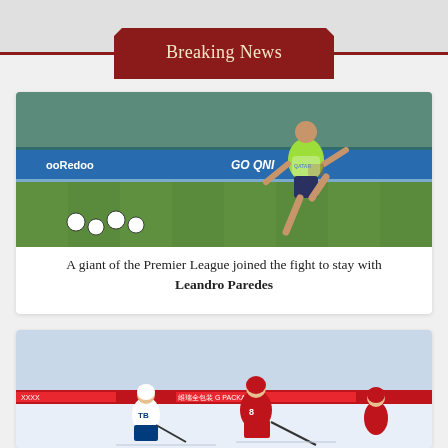Breaking News
[Figure (photo): Soccer player wearing a green training bib running on a training pitch. Sponsor banners (Ooredoo, QNI) visible in background. Footballs scattered on the grass.]
A giant of the Premier League joined the fight to stay with Leandro Paredes
[Figure (photo): Ice hockey players on the ice. Player in red Washington Capitals jersey and player in white Tampa Bay Lightning jersey. Chinese-language sponsor banner visible in background.]